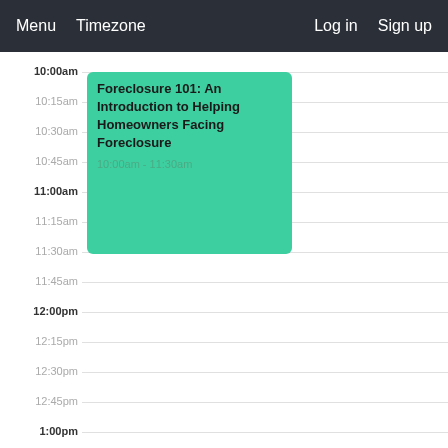Menu  Timezone  Log in  Sign up
10:00am
10:15am
10:30am
10:45am
11:00am
11:15am
11:30am
11:45am
12:00pm
12:15pm
12:30pm
12:45pm
1:00pm
Foreclosure 101: An Introduction to Helping Homeowners Facing Foreclosure
10:00am - 11:30am